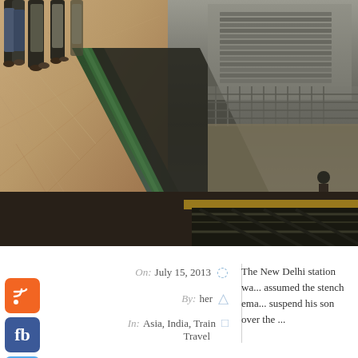[Figure (photo): Overhead view of a railway station platform in New Delhi, India. People walking on a tiled platform on the left, a green railing/train in the middle, and railway tracks and construction area visible on the right.]
On: July 15, 2013
By: her
In: Asia, India, Train Travel
The New Delhi station wa... assumed the stench ema... suspend his son over the ...